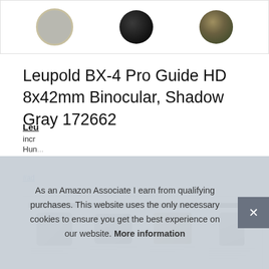[Figure (photo): Three color option circles for the binocular: Shadow Gray, Black, and Camo patterns shown as circular swatches]
Leupold BX-4 Pro Guide HD 8x42mm Binocular, Shadow Gray 172662
#ad
[Figure (photo): Row of four product brochure/manual thumbnail images showing the Leupold BX-4 Pro Guide HD binoculars from different angles and a specifications sheet]
Leu
incr
Hun...
As an Amazon Associate I earn from qualifying purchases. This website uses the only necessary cookies to ensure you get the best experience on our website. More information